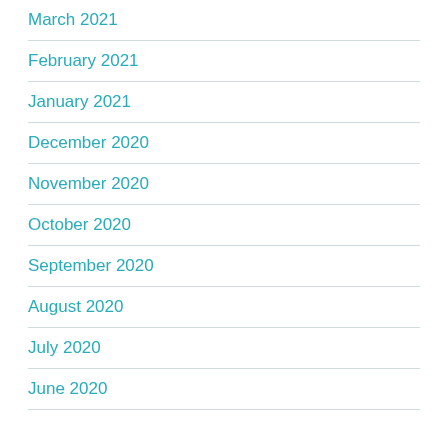March 2021
February 2021
January 2021
December 2020
November 2020
October 2020
September 2020
August 2020
July 2020
June 2020